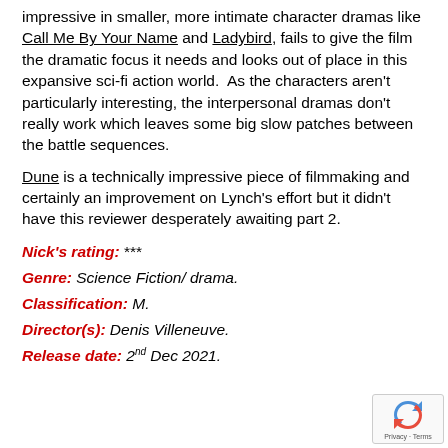impressive in smaller, more intimate character dramas like Call Me By Your Name and Ladybird, fails to give the film the dramatic focus it needs and looks out of place in this expansive sci-fi action world. As the characters aren't particularly interesting, the interpersonal dramas don't really work which leaves some big slow patches between the battle sequences.
Dune is a technically impressive piece of filmmaking and certainly an improvement on Lynch's effort but it didn't have this reviewer desperately awaiting part 2.
Nick's rating: ***
Genre: Science Fiction/ drama.
Classification: M.
Director(s): Denis Villeneuve.
Release date: 2nd Dec 2021.